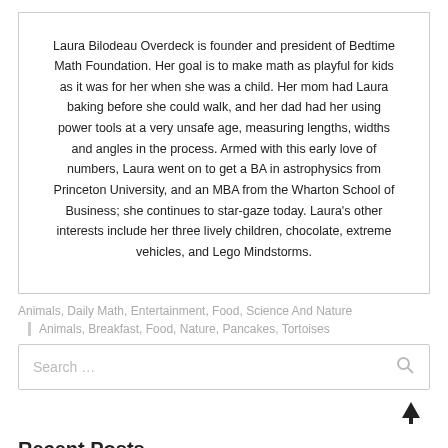Laura Bilodeau Overdeck is founder and president of Bedtime Math Foundation. Her goal is to make math as playful for kids as it was for her when she was a child. Her mom had Laura baking before she could walk, and her dad had her using power tools at a very unsafe age, measuring lengths, widths and angles in the process. Armed with this early love of numbers, Laura went on to get a BA in astrophysics from Princeton University, and an MBA from the Wharton School of Business; she continues to star-gaze today. Laura's other interests include her three lively children, chocolate, extreme vehicles, and Lego Mindstorms.
Animals, Daily Math, Entertainment, Food, Science And Nature
Animals, Breakfast, Food, Nature, Pancakes, Tortoises
Search ...
Recent Posts